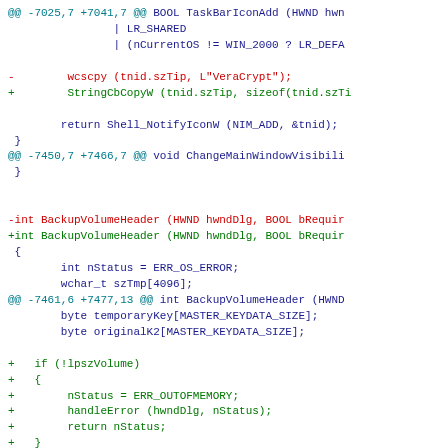Diff/patch code snippet showing changes to TaskBarIconAdd and BackupVolumeHeader functions